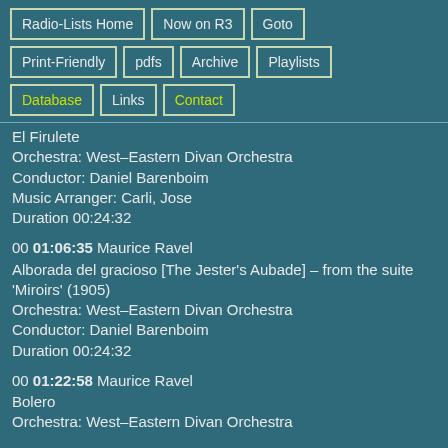Radio-Lists Home
Now on R3
Goto
Print-Friendly
pdfs
Archive
Playlists
Database
Links
Contact
El Firulete
Orchestra: West–Eastern Divan Orchestra
Conductor: Daniel Barenboim
Music Arranger: Carli, Jose
Duration 00:24:32
00 01:06:35 Maurice Ravel
Alborada del gracioso [The Jester's Aubade] – from the suite 'Miroirs' (1905)
Orchestra: West–Eastern Divan Orchestra
Conductor: Daniel Barenboim
Duration 00:24:32
00 01:22:58 Maurice Ravel
Bolero
Orchestra: West–Eastern Divan Orchestra